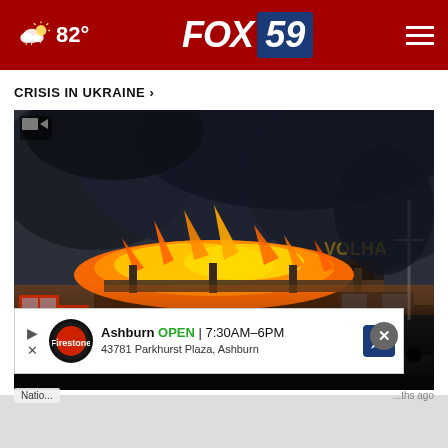FOX 59 — 82° weather — navigation menu
CRISIS IN UKRAINE >
[Figure (photo): A large fire engulfs what appears to be a shopping mall or commercial building. Heavy black smoke rises against a dark sky. Firefighters and fire trucks are visible in the foreground left, with cars in the parking lot. Flames are intense and widespread.]
Officials: Russian missile strike hits crowded mall
National · ... months ago
[Figure (other): Advertisement banner: Ashburn OPEN 7:30AM-6PM, 43781 Parkhurst Plaza, Ashburn — Firestone Auto Care with logo and navigation icon]